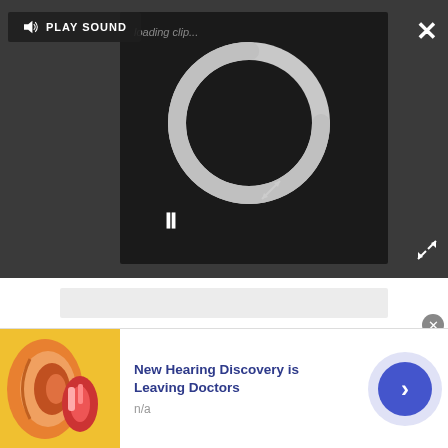[Figure (screenshot): Dark video player overlay with a loading spinner circle, pause button, Play Sound button with speaker icon, close X button, and expand/fullscreen icon. The spinner shows a circular loading animation on a dark background.]
[Figure (screenshot): Light grey placeholder content box below the video player area.]
Advertisement
[Figure (screenshot): Bottom advertisement banner showing an ear anatomy illustration on the left, text 'New Hearing Discovery is Leaving Doctors' with 'n/a' subtitle, and a blue circular play/arrow button on the right. A small grey close button appears at top-right of the banner.]